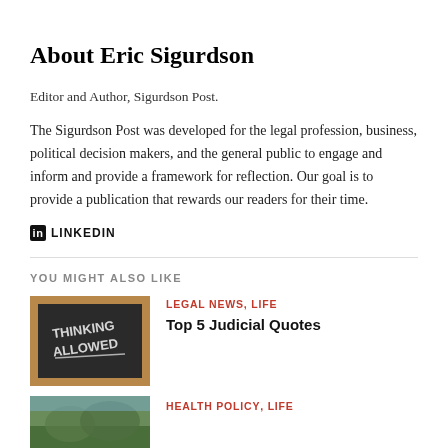About Eric Sigurdson
Editor and Author, Sigurdson Post.
The Sigurdson Post was developed for the legal profession, business, political decision makers, and the general public to engage and inform and provide a framework for reflection. Our goal is to provide a publication that rewards our readers for their time.
in LINKEDIN
YOU MIGHT ALSO LIKE
[Figure (photo): Chalkboard with 'Thinking Allowed' written in chalk]
LEGAL NEWS, LIFE
Top 5 Judicial Quotes
[Figure (photo): Outdoor/nature scene, partially visible]
HEALTH POLICY, LIFE